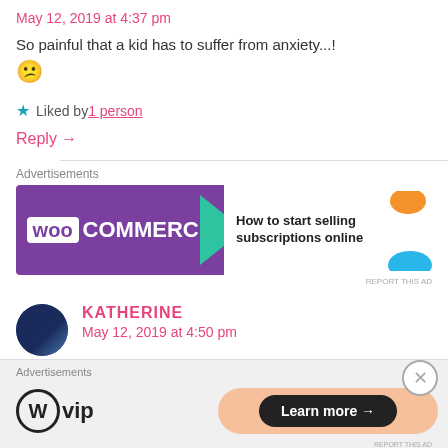May 12, 2019 at 4:37 pm
So painful that a kid has to suffer from anxiety...! 😕
★ Liked by 1 person
Reply →
Advertisements
[Figure (screenshot): WooCommerce advertisement banner: 'How to start selling subscriptions online']
KATHERINE
May 12, 2019 at 4:50 pm
Advertisements
[Figure (screenshot): WordPress VIP advertisement with 'Learn more →' button]